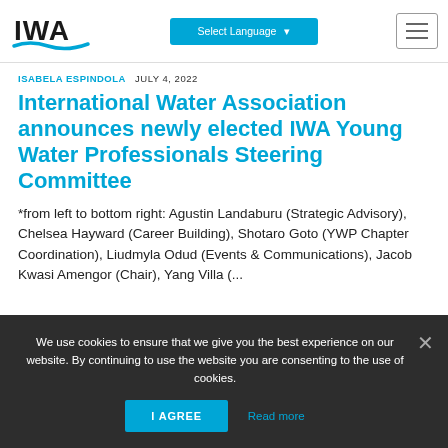IWA | Select Language | Navigation menu
ISABELA ESPINDOLA  JULY 4, 2022
International Water Association announces newly elected IWA Young Water Professionals Steering Committee
*from left to bottom right: Agustin Landaburu (Strategic Advisory), Chelsea Hayward (Career Building), Shotaro Goto (YWP Chapter Coordination), Liudmyla Odud (Events & Communications), Jacob Kwasi Amengor (Chair), Yang Villa (...
We use cookies to ensure that we give you the best experience on our website. By continuing to use the website you are consenting to the use of cookies.